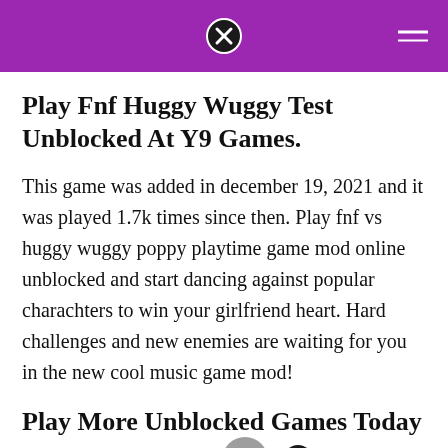Play Fnf Huggy Wuggy Test Unblocked At Y9 Games.
This game was added in december 19, 2021 and it was played 1.7k times since then. Play fnf vs huggy wuggy poppy playtime game mod online unblocked and start dancing against popular charachters to win your girlfriend heart. Hard challenges and new enemies are waiting for you in the new cool music game mod!
Play More Unblocked Games Today On Our Website.